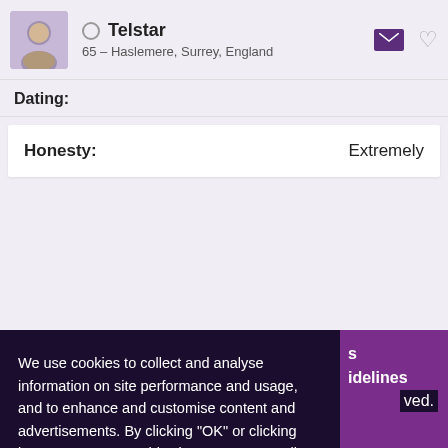Telstar — 65 – Haslemere, Surrey, England
Dating:
| Field | Value |
| --- | --- |
| Honesty: | Extremely |
We use cookies to collect and analyse information on site performance and usage, and to enhance and customise content and advertisements. By clicking "OK" or clicking into any content on this site you agree to allow cookies to be placed. To find out more or to change your cookie settings, visit the cookies section of our Privacy Policy.
OK
ved.